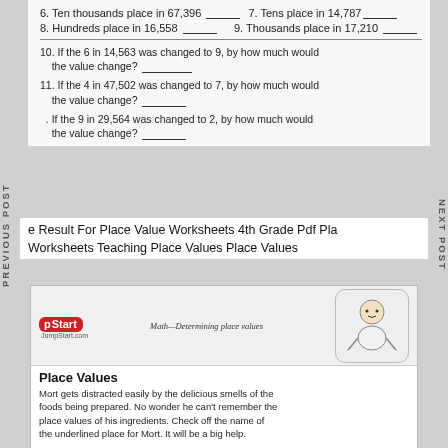6. Ten thousands place in 67,396 ___ 7. Tens place in 14,787 ___
8. Hundreds place in 16,558 ___ 9. Thousands place in 17,210 ___
10. If the 6 in 14,563 was changed to 9, by how much would the value change? ___
11. If the 4 in 47,502 was changed to 7, by how much would the value change? ___
. If the 9 in 29,564 was changed to 2, by how much would the value change? ___
e Result For Place Value Worksheets 4th Grade Pdf Pla Worksheets Teaching Place Values Place Values
Math—Determining place values
Place Values
Mort gets distracted easily by the delicious smells of the foods being prepared. No wonder he can't remember the place values of his ingredients. Check off the name of the underlined place for Mort. It will be a big help.
Place Values
| hundred thousands | ten thousands | thousands | hundreds | tens | ones |
| --- | --- | --- | --- | --- | --- |